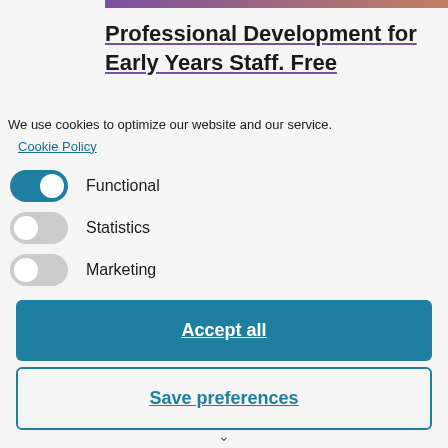[Figure (photo): Partial decorative header image with purple and brown gradient]
Professional Development for Early Years Staff. Free
We use cookies to optimize our website and our service.
Cookie Policy
Functional
Statistics
Marketing
Accept all
Save preferences